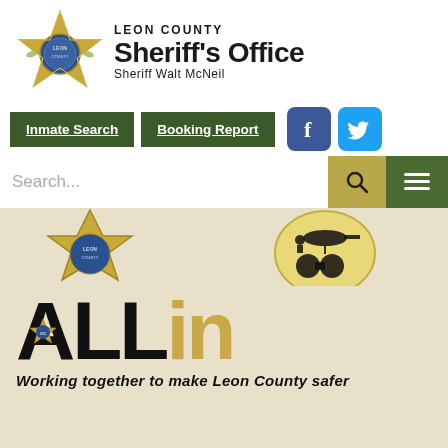[Figure (logo): Leon County Sheriff's Office star badge logo in gold]
LEON COUNTY Sheriff's Office Sheriff Walt McNeil
[Figure (other): Navigation bar with Inmate Search and Booking Report buttons, Facebook and Twitter social media icons]
[Figure (screenshot): Search bar with search input field, gold search button with magnifying glass icon, dark green hamburger menu icon on right]
[Figure (illustration): Partial badge/patch images on beige background]
[Figure (logo): ALLin logo - ALL in large black bold text with star badge, 'in' in gold/tan color]
Working together to make Leon County safer